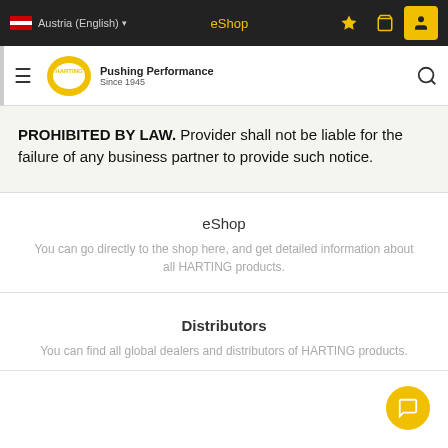Austria (English)  eShop
PROHIBITED BY LAW. Provider shall not be liable for the failure of any business partner to provide such notice.
eShop
You can go directly to the shop here, and get detailed information about all HARTING products.
Distributors
You can find all global dealers and distributors of HARTING products.